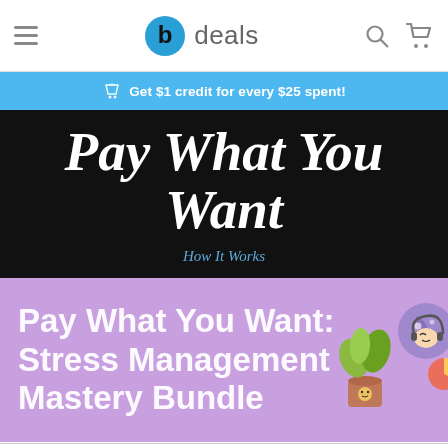b deals
Get $1 credit for every $25 spent!
Pay What You Want
How It Works
[Figure (illustration): Purple banner with text 'Pay What You Want: Stress Management Mastery Bundle' and cartoon wellness illustrations on the right]
$5.22
Beat the Average Price
Beat the average to get all 6 items!
Price locked in for 14:58